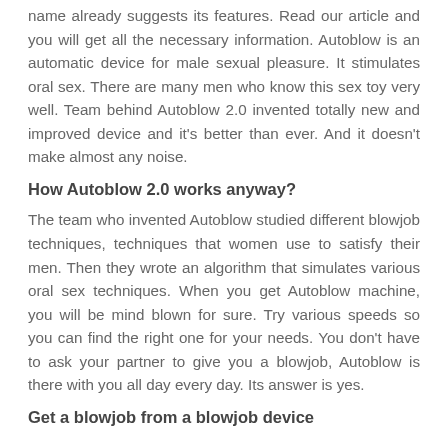name already suggests its features. Read our article and you will get all the necessary information. Autoblow is an automatic device for male sexual pleasure. It stimulates oral sex. There are many men who know this sex toy very well. Team behind Autoblow 2.0 invented totally new and improved device and it's better than ever. And it doesn't make almost any noise.
How Autoblow 2.0 works anyway?
The team who invented Autoblow studied different blowjob techniques, techniques that women use to satisfy their men. Then they wrote an algorithm that simulates various oral sex techniques. When you get Autoblow machine, you will be mind blown for sure. Try various speeds so you can find the right one for your needs. You don't have to ask your partner to give you a blowjob, Autoblow is there with you all day every day. Its answer is yes.
Get a blowjob from a blowjob device